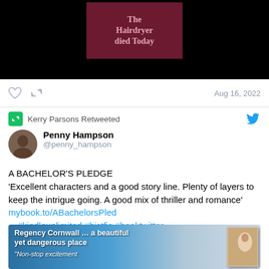[Figure (screenshot): Black background with dark red/maroon rectangle containing text 'The Hairdryer died Today' in pink text]
Aug 16, 2022
Kerry Parsons Retweeted
Penny Hampson @penny_hampson
A BACHELOR'S PLEDGE 'Excellent characters and a good story line. Plenty of layers to keep the intrigue going. A good mix of thriller and romance' mybook.to/ABachelorsPled…#kindleunimited #histfic #booktwitter
[Figure (illustration): Book promotional image with text 'Regency Cornwall … a beautiful yet dangerous place' and '"Non-stop excitement' over a coastal/sea background with a book cover showing a woman]